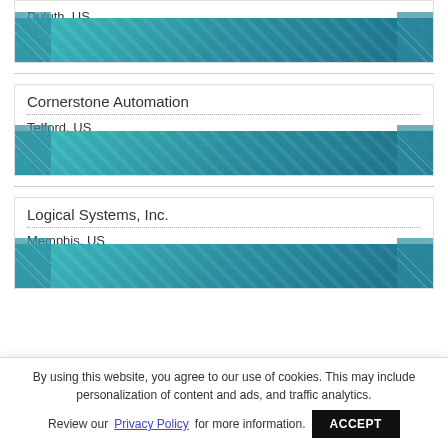Duluth, US
Cornerstone Automation
Telford, US
Logical Systems, Inc.
Memphis, US
By using this website, you agree to our use of cookies. This may include personalization of content and ads, and traffic analytics. Review our Privacy Policy for more information.